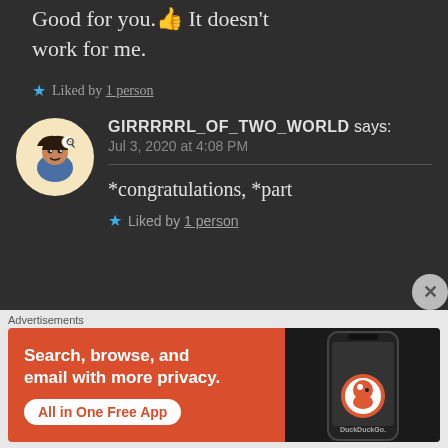Good for you.👍 It doesn't work for me.
★ Liked by 1 person
GIRRRRRL_OF_TWO_WORLD says:
Jul 3, 2020 at 4:08 PM
*congratulations, *part
★ Liked by 1 person
[Figure (other): DuckDuckGo advertisement banner: Search, browse, and email with more privacy. All in One Free App.]